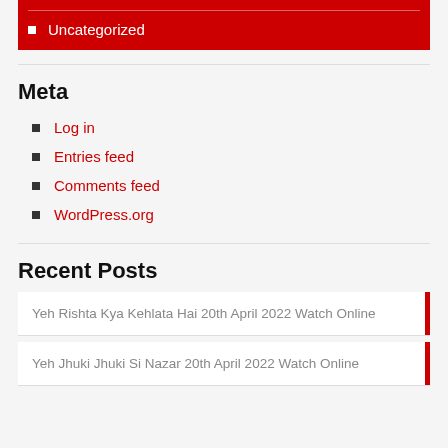Uncategorized
Meta
Log in
Entries feed
Comments feed
WordPress.org
Recent Posts
Yeh Rishta Kya Kehlata Hai 20th April 2022 Watch Online
Yeh Jhuki Jhuki Si Nazar 20th April 2022 Watch Online